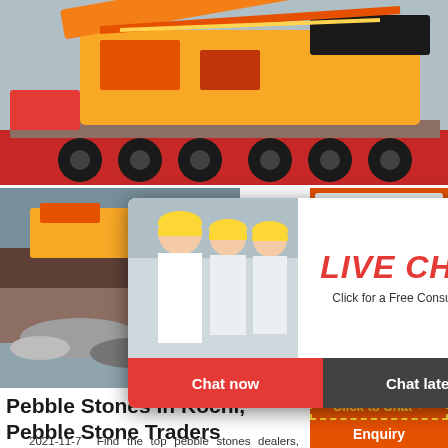[Figure (photo): Yellow heavy mining/crushing machinery loaded on a red flatbed truck, side view, outdoor setting]
[Figure (photo): Mining site with yellow heavy equipment and rock crushing/processing machinery, two stacked images of mining operations]
[Figure (screenshot): Live Chat popup overlay showing workers in hard hats, with 'LIVE CHAT' heading, 'Click for a Free Consultation' subtitle, and 'Chat now' / 'Chat later' buttons]
[Figure (photo): Orange sidebar showing various crusher and industrial machinery equipment photos, with 'Enjoy 3% discount', 'Click to Chat', and 'Enquiry' banners]
Pebble Stones In Kochi, Pebble Stone Traders
2021-11-7  Find the top pebble stones dealers, wholesalers, manufacturers suppliers in Kochi updated pebble stones